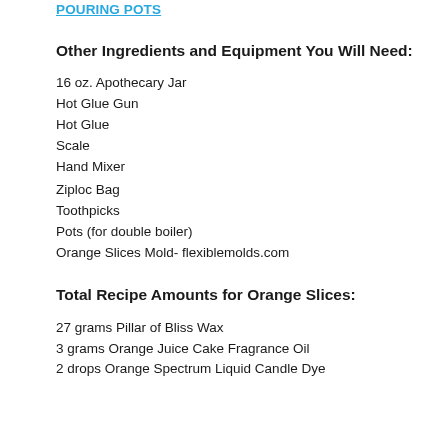POURING POTS
Other Ingredients and Equipment You Will Need:
16 oz. Apothecary Jar
Hot Glue Gun
Hot Glue
Scale
Hand Mixer
Ziploc Bag
Toothpicks
Pots (for double boiler)
Orange Slices Mold- flexiblemolds.com
Total Recipe Amounts for Orange Slices:
27 grams Pillar of Bliss Wax
3 grams Orange Juice Cake Fragrance Oil
2 drops Orange Spectrum Liquid Candle Dye